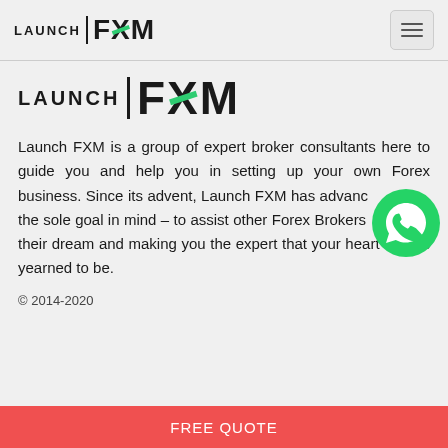[Figure (logo): Launch FXM logo in navigation bar]
[Figure (logo): Launch FXM large logo in main content area]
Launch FXM is a group of expert broker consultants here to guide you and help you in setting up your own Forex business. Since its advent, Launch FXM has advanced with the sole goal in mind – to assist other Forex Brokers in realizing their dream and making you the expert that your heart always yearned to be.
© 2014-2020
FREE QUOTE